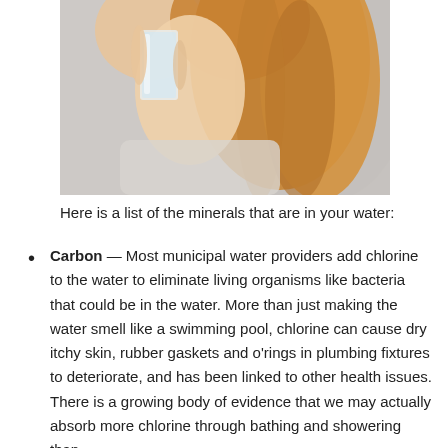[Figure (photo): A woman with long blonde hair holding a clear glass of water, photographed from the shoulders up against a blurred background.]
Here is a list of the minerals that are in your water:
Carbon — Most municipal water providers add chlorine to the water to eliminate living organisms like bacteria that could be in the water. More than just making the water smell like a swimming pool, chlorine can cause dry itchy skin, rubber gaskets and o'rings in plumbing fixtures to deteriorate, and has been linked to other health issues. There is a growing body of evidence that we may actually absorb more chlorine through bathing and showering than